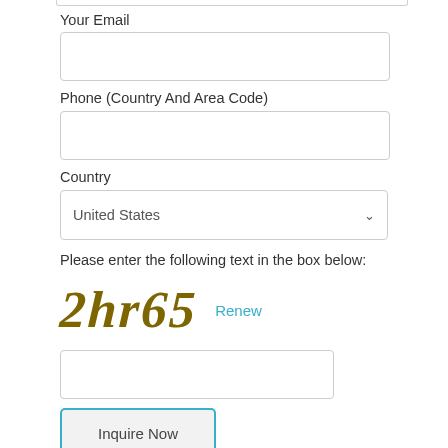Your Email
[Figure (other): Empty email input text box]
Phone (Country And Area Code)
[Figure (other): Empty phone input text box]
Country
[Figure (other): Country dropdown selector showing United States]
Please enter the following text in the box below:
[Figure (other): CAPTCHA image showing text '2hr65' in olive/gold italic font, with a 'Renew' link in blue]
[Figure (other): Empty CAPTCHA input text box]
[Figure (other): Inquire Now button with teal border]
Add to Favorites